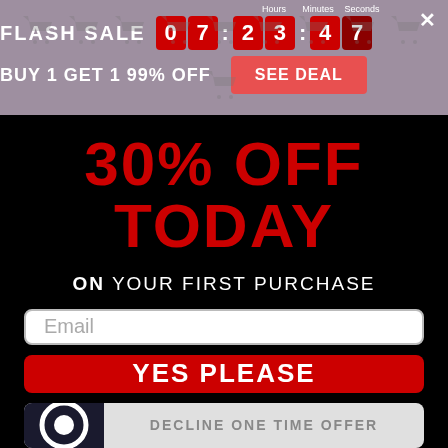FLASH SALE 07:23:47 — BUY 1 GET 1 99% OFF — SEE DEAL
30% OFF TODAY
ON YOUR FIRST PURCHASE
Email
YES PLEASE
DECLINE ONE TIME OFFER